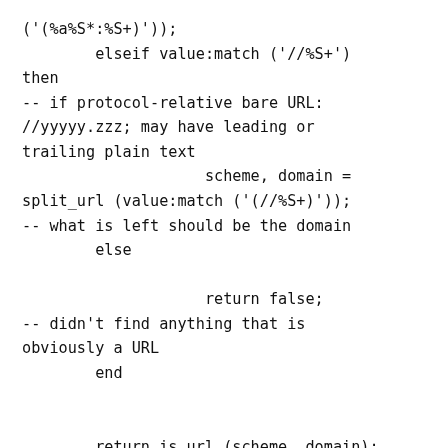('(%a%S*:%S+)'));
        elseif value:match ('//%S+')
then
-- if protocol-relative bare URL:
//yyyyy.zzz; may have leading or
trailing plain text
                    scheme, domain =
split_url (value:match ('(//%S+)'));
-- what is left should be the domain
        else

                    return false;
-- didn't find anything that is
obviously a URL
        end


        return is_url (scheme, domain);
-- return true if value appears to be a